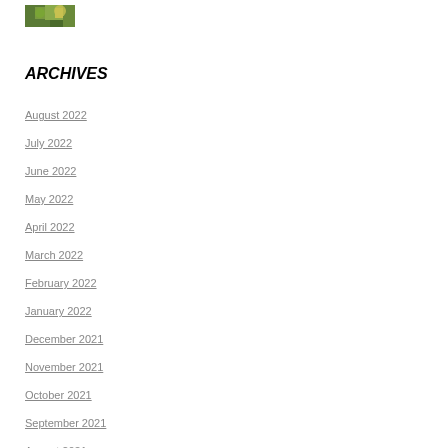[Figure (photo): Small thumbnail image of a nature/garden scene with green and yellow tones]
ARCHIVES
August 2022
July 2022
June 2022
May 2022
April 2022
March 2022
February 2022
January 2022
December 2021
November 2021
October 2021
September 2021
August 2021
July 2021